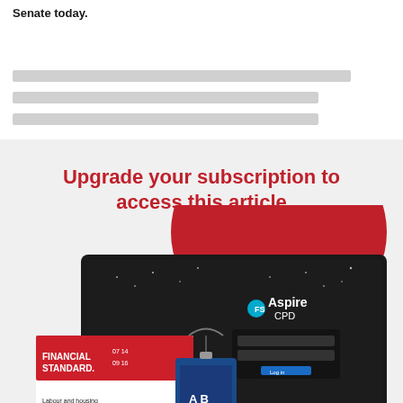Senate today.
[Figure (illustration): Subscription upgrade promotional banner for Financial Standard, showing the text 'Upgrade your subscription to access this article' in bold red on a light grey background, with product imagery below including a Financial Standard newspaper, an Advisers Big Day Out lanyard badge, and a laptop displaying the FS Aspire CPD login page against a night-sky road backdrop.]